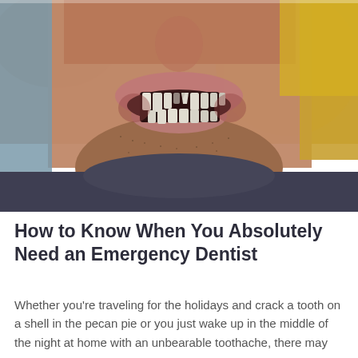[Figure (photo): Close-up photo of a man's lower face showing missing and damaged front teeth, with stubble beard, wearing a dark hoodie. Background is blurred with warm and cool tones.]
How to Know When You Absolutely Need an Emergency Dentist
Whether you’re traveling for the holidays and crack a tooth on a shell in the pecan pie or you just wake up in the middle of the night at home with an unbearable toothache, there may